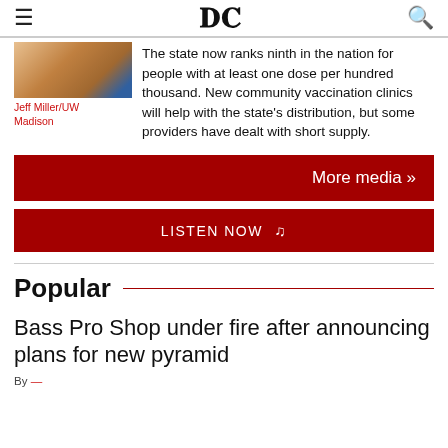DC
[Figure (photo): Partial thumbnail photo of person]
Jeff Miller/UW Madison
The state now ranks ninth in the nation for people with at least one dose per hundred thousand. New community vaccination clinics will help with the state's distribution, but some providers have dealt with short supply.
More media »
LISTEN NOW ♪
Popular
Bass Pro Shop under fire after announcing plans for new pyramid
By ...